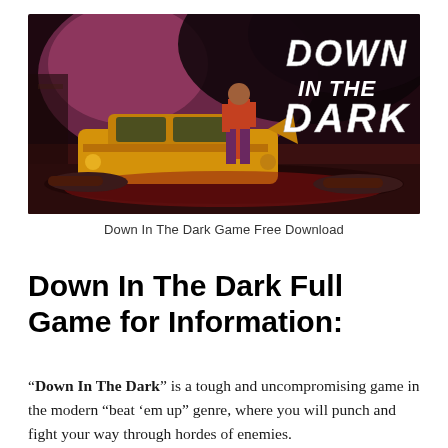[Figure (illustration): Game cover art for 'Down In The Dark' showing a dark urban scene with a man in a red jacket standing near a yellow car, bodies on the ground, and the game title 'DOWN IN THE DARK' in white stylized text on the upper right against a smoky purple/dark background.]
Down In The Dark Game Free Download
Down In The Dark Full Game for Information:
“Down In The Dark” is a tough and uncompromising game in the modern “beat ‘em up” genre, where you will punch and fight your way through hordes of enemies.